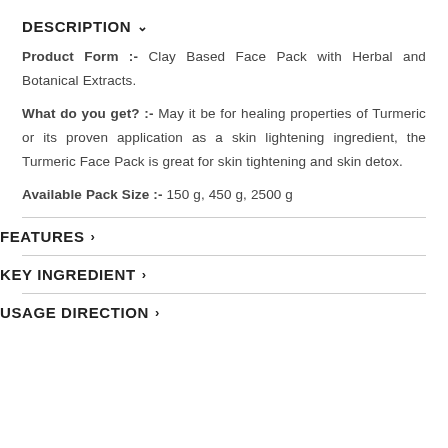DESCRIPTION ˅
Product Form :- Clay Based Face Pack with Herbal and Botanical Extracts.
What do you get? :- May it be for healing properties of Turmeric or its proven application as a skin lightening ingredient, the Turmeric Face Pack is great for skin tightening and skin detox.
Available Pack Size :- 150 g, 450 g, 2500 g
FEATURES >
KEY INGREDIENT >
USAGE DIRECTION >